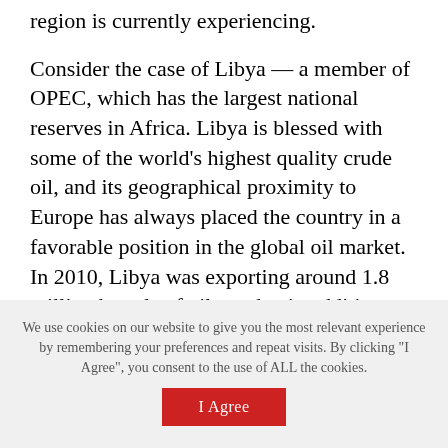region is currently experiencing.
Consider the case of Libya — a member of OPEC, which has the largest national reserves in Africa. Libya is blessed with some of the world's highest quality crude oil, and its geographical proximity to Europe has always placed the country in a favorable position in the global oil market. In 2010, Libya was exporting around 1.8 million barrels of oil per day in addition to substantial amounts of natural gas. It is therefore no coincidence that the Libyan revolution has been a key reason for the recent rise in oil prices, despite Saudi attempts to bridge the oil production gap.
We use cookies on our website to give you the most relevant experience by remembering your preferences and repeat visits. By clicking "I Agree", you consent to the use of ALL the cookies.